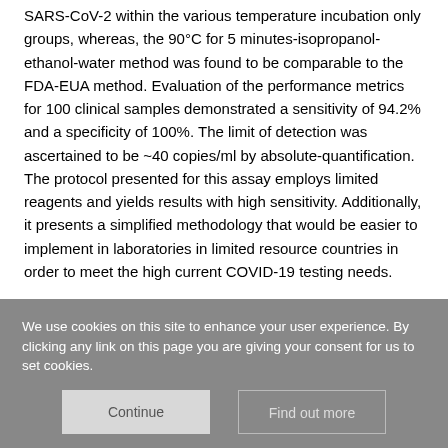SARS-CoV-2 within the various temperature incubation only groups, whereas, the 90°C for 5 minutes-isopropanol-ethanol-water method was found to be comparable to the FDA-EUA method. Evaluation of the performance metrics for 100 clinical samples demonstrated a sensitivity of 94.2% and a specificity of 100%. The limit of detection was ascertained to be ~40 copies/ml by absolute-quantification. The protocol presented for this assay employs limited reagents and yields results with high sensitivity. Additionally, it presents a simplified methodology that would be easier to implement in laboratories in limited resource countries in order to meet the high current COVID-19 testing needs.
Competing Interest Statement
We use cookies on this site to enhance your user experience. By clicking any link on this page you are giving your consent for us to set cookies.